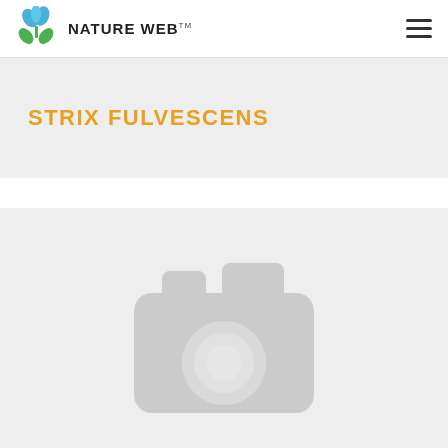NATURE WEB
STRIX FULVESCENS
[Figure (photo): Placeholder image area with a grey camera icon indicating no photo available for Strix fulvescens]